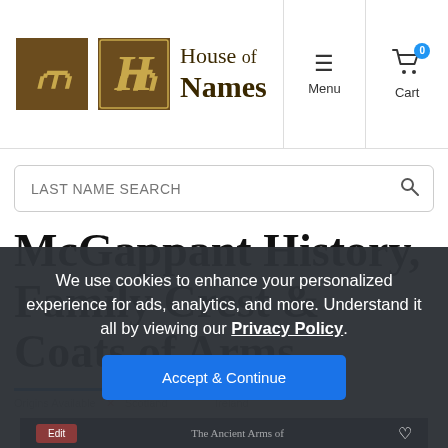House of Names — Menu | Cart (0)
LAST NAME SEARCH
McGappant History, Family Crest & Coats of Arms
We use cookies to enhance your personalized experience for ads, analytics, and more. Understand it all by viewing our Privacy Policy.
Accept & Continue